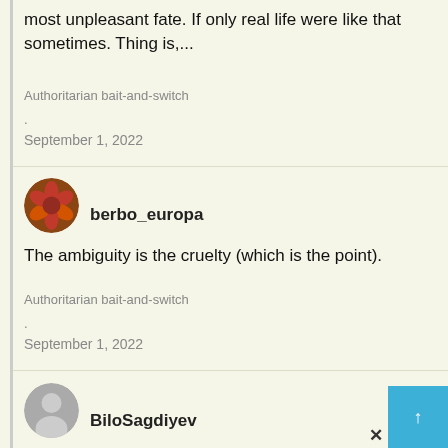most unpleasant fate. If only real life were like that sometimes. Thing is,...
Authoritarian bait-and-switch
.
September 1, 2022
[Figure (photo): Circular avatar with red/orange flower image for user berbo_europa]
berbo_europa
The ambiguity is the cruelty (which is the point).
Authoritarian bait-and-switch
.
September 1, 2022
[Figure (photo): Circular gray avatar with person silhouette for user BiloSagdiyev]
BiloSagdiyev